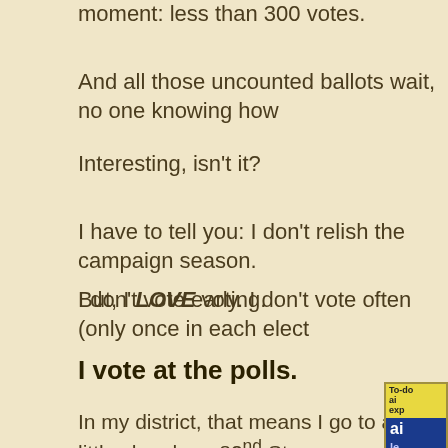moment: less than 300 votes.
And all those uncounted ballots wait, no one knowing how
Interesting, isn't it?
I have to tell you: I don't relish the campaign season.
But, I LOVE voting.
I don't vote early. I don't vote often (only once in each elect
I vote at the polls.
In my district, that means I go to a little church on 82nd Stree my home.
As I approach, I see the front lawn is filled with campaign signs for every party: Republican, Democrat, Libertarian, Green, and a few others I
[Figure (photo): Partial image of a campaign-related publication or signage on the right side of the page]